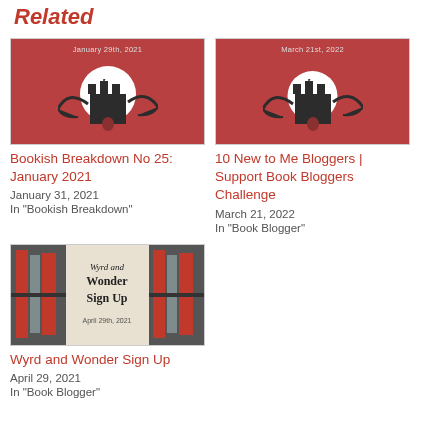Related
[Figure (illustration): Book blog thumbnail with dark red background, white moon, castle silhouette, text January 29th, 2021]
Bookish Breakdown No 25: January 2021
January 31, 2021
In "Bookish Breakdown"
[Figure (illustration): Book blog thumbnail with dark red background, white moon, castle silhouette, text March 21st, 2022]
10 New to Me Bloggers | Support Book Bloggers Challenge
March 21, 2022
In "Book Blogger"
[Figure (illustration): Wyrd and Wonder Sign Up thumbnail with bookshelf collage background, text Wyrd and Wonder Sign Up, April 29th, 2021]
Wyrd and Wonder Sign Up
April 29, 2021
In "Book Blogger"